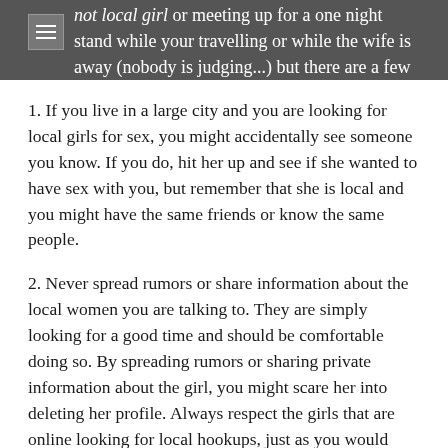not local girl or meeting up for a one night stand while your travelling or while the wife is away (nobody is judging...) but there are a few things you should always keep in mind:
1. If you live in a large city and you are looking for local girls for sex, you might accidentally see someone you know. If you do, hit her up and see if she wanted to have sex with you, but remember that she is local and you might have the same friends or know the same people.
2. Never spread rumors or share information about the local women you are talking to. They are simply looking for a good time and should be comfortable doing so. By spreading rumors or sharing private information about the girl, you might scare her into deleting her profile. Always respect the girls that are online looking for local hookups, just as you would want them to respect you.